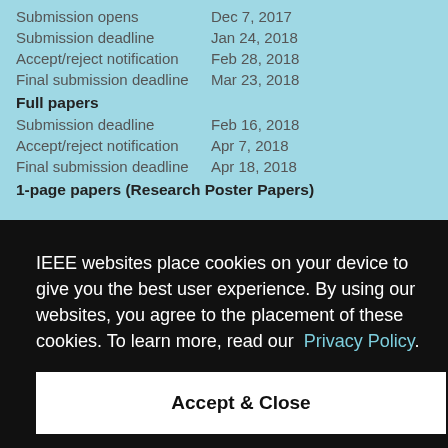Submission opens    Dec 7, 2017
Submission deadline    Jan 24, 2018
Accept/reject notification    Feb 28, 2018
Final submission deadline    Mar 23, 2018
Full papers
Submission deadline    Feb 16, 2018
Accept/reject notification    Apr 7, 2018
Final submission deadline    Apr 18, 2018
1-page papers (Research Poster Papers)
IEEE websites place cookies on your device to give you the best user experience. By using our websites, you agree to the placement of these cookies. To learn more, read our  Privacy Policy.
Accept & Close